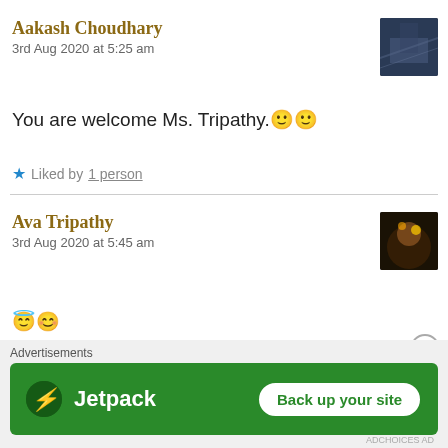Aakash Choudhary
3rd Aug 2020 at 5:25 am
You are welcome Ms. Tripathy. 🙂🙂
★ Liked by 1 person
Ava Tripathy
3rd Aug 2020 at 5:45 am
😇😊
★ Like
Advertisements
[Figure (screenshot): Jetpack advertisement banner with 'Back up your site' button]